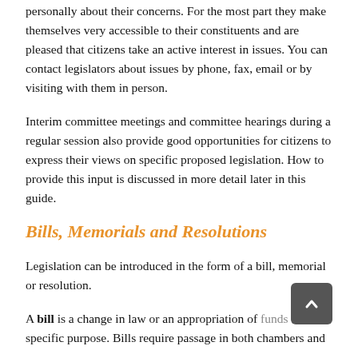personally about their concerns. For the most part they make themselves very accessible to their constituents and are pleased that citizens take an active interest in issues. You can contact legislators about issues by phone, fax, email or by visiting with them in person.
Interim committee meetings and committee hearings during a regular session also provide good opportunities for citizens to express their views on specific proposed legislation. How to provide this input is discussed in more detail later in this guide.
Bills, Memorials and Resolutions
Legislation can be introduced in the form of a bill, memorial or resolution.
A bill is a change in law or an appropriation of funds for a specific purpose. Bills require passage in both chambers and the signature of the